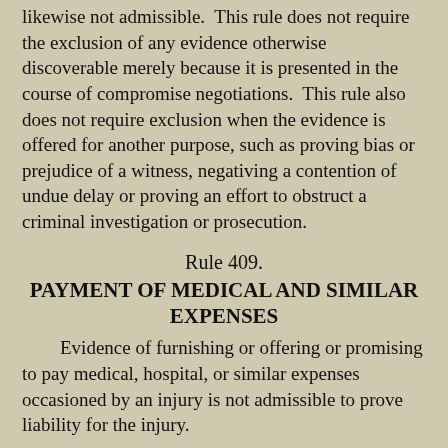likewise not admissible.  This rule does not require the exclusion of any evidence otherwise discoverable merely because it is presented in the course of compromise negotiations.  This rule also does not require exclusion when the evidence is offered for another purpose, such as proving bias or prejudice of a witness, negativing a contention of undue delay or proving an effort to obstruct a criminal investigation or prosecution.
Rule 409.
PAYMENT OF MEDICAL AND SIMILAR EXPENSES
Evidence of furnishing or offering or promising to pay medical, hospital, or similar expenses occasioned by an injury is not admissible to prove liability for the injury.
Rule 410.
INADMISSIBILITY OF PLEAS, PLEA DISCUSSIONS, AND RELATED STATEMENTS
Except as otherwise provided in this rule, evidence of a plea of guilty, later withdrawn, or a plea of nolo contendere, or of an offer to plead guilty or nolo contendere to the crime charged or any other crime, or of statements made in connection with, and relevant to, any of the foregoing pleas or offers, is not admissible.